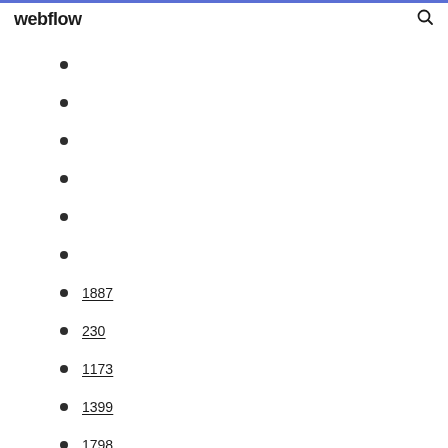webflow
1887
230
1173
1399
1798
1816